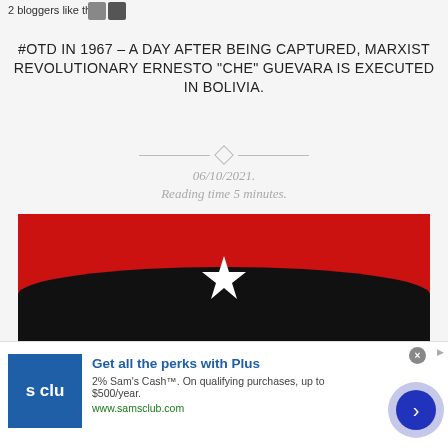2 bloggers like this.
#OTD IN 1967 – A DAY AFTER BEING CAPTURED, MARXIST REVOLUTIONARY ERNESTO “CHE” GUEVARA IS EXECUTED IN BOLIVIA.
06/10/2021.
Reading time 5 minutes.
[Figure (illustration): Stylized red background with a dark silhouette and a white star, reminiscent of Che Guevara imagery]
infolinks
Get all the perks with Plus
2% Sam's Cash™. On qualifying purchases, up to $500/year.
www.samsclub.com